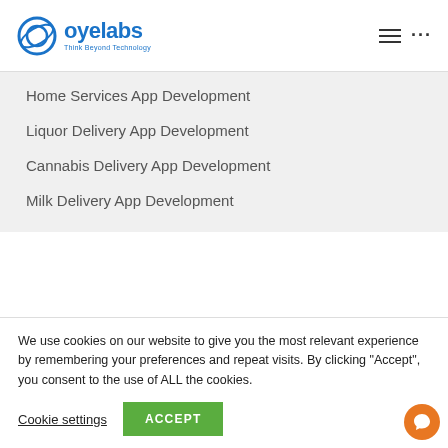oyelabs - Think Beyond Technology
Home Services App Development
Liquor Delivery App Development
Cannabis Delivery App Development
Milk Delivery App Development
We use cookies on our website to give you the most relevant experience by remembering your preferences and repeat visits. By clicking “Accept”, you consent to the use of ALL the cookies.
Cookie settings | ACCEPT